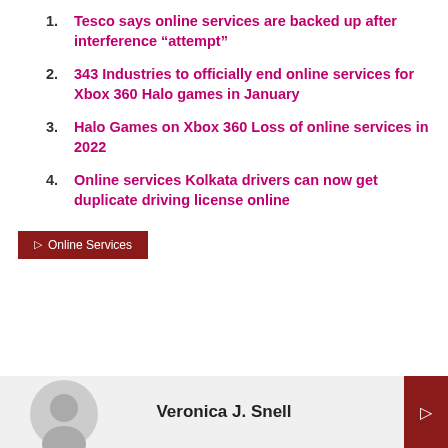Tesco says online services are backed up after interference “attempt”
343 Industries to officially end online services for Xbox 360 Halo games in January
Halo Games on Xbox 360 Loss of online services in 2022
Online services Kolkata drivers can now get duplicate driving license online
▷ Online Services
Veronica J. Snell